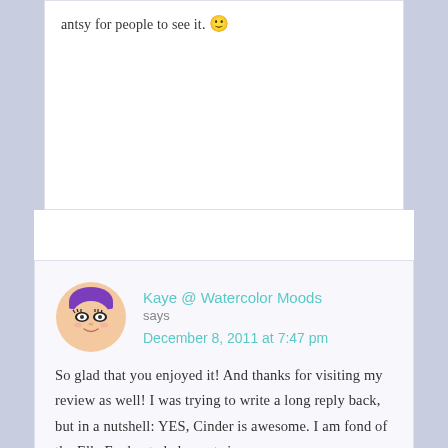antsy for people to see it. 🙂
[Figure (illustration): Cartoon avatar of a person with purple hair/hat, dark eye makeup, and a small smile on a circular frame]
Kaye @ Watercolor Moods says
December 8, 2011 at 7:47 pm
So glad that you enjoyed it! And thanks for visiting my review as well! I was trying to write a long reply back, but in a nutshell: YES, Cinder is awesome. I am fond of the Ella Enchanted elements in